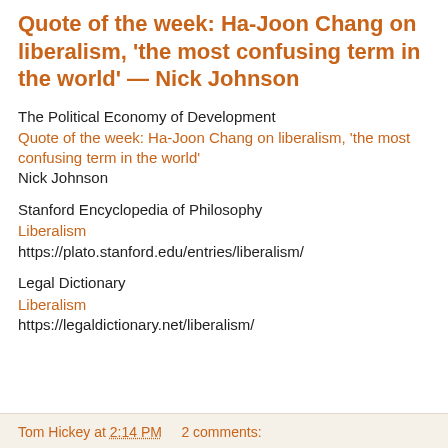Quote of the week: Ha-Joon Chang on liberalism, 'the most confusing term in the world' — Nick Johnson
The Political Economy of Development
Quote of the week: Ha-Joon Chang on liberalism, 'the most confusing term in the world'
Nick Johnson
Stanford Encyclopedia of Philosophy
Liberalism
https://plato.stanford.edu/entries/liberalism/
Legal Dictionary
Liberalism
https://legaldictionary.net/liberalism/
Tom Hickey at 2:14 PM    2 comments: